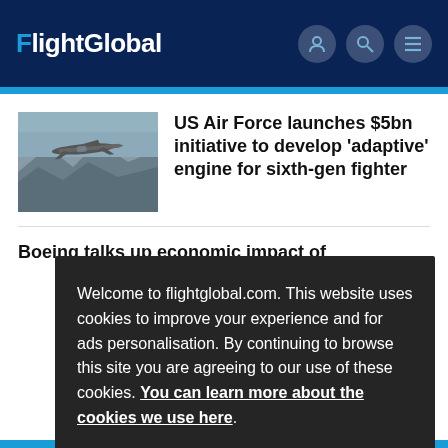FlightGlobal
[Figure (photo): Fighter jet aircraft flying over mountainous terrain]
US Air Force launches $5bn initiative to develop ‘adaptive’ engine for sixth-gen fighter
Boeing talks up economic impact of
Welcome to flightglobal.com. This website uses cookies to improve your experience and for ads personalisation. By continuing to browse this site you are agreeing to our use of these cookies. You can learn more about the cookies we use here.
OK